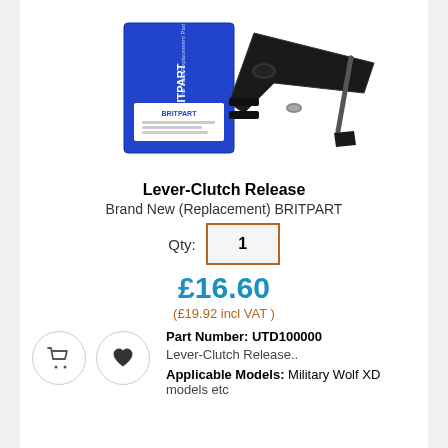[Figure (photo): Product photo showing a Britpart branded blue box and a black clutch release lever with hardware components including a rod and small bracket, on white background.]
Lever-Clutch Release
Brand New (Replacement) BRITPART
Qty: 1
£16.60
(£19.92 incl VAT )
Part Number: UTD100000
Lever-Clutch Release..
Applicable Models: Military Wolf XD models etc